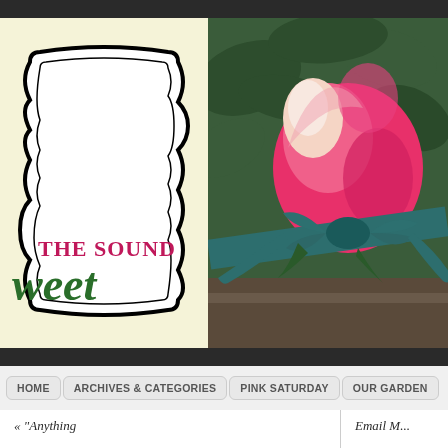[Figure (logo): Blog logo with decorative frame on cream background showing 'THE SOUND' in pink and 'Sweet' in green italic script]
[Figure (photo): Close-up photograph of a pink and white rose bud with dark teal/green ribbon tied around it, green leaves in background]
HOME | ARCHIVES & CATEGORIES | PINK SATURDAY | OUR GARDEN
« "Anything
Email M...